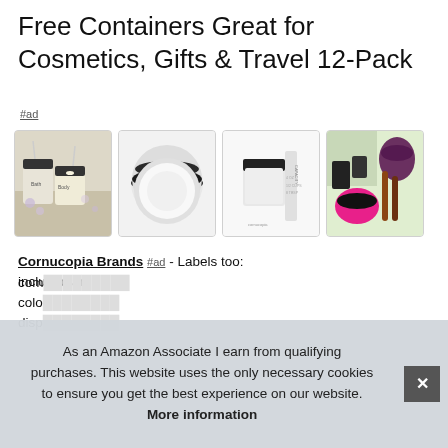Free Containers Great for Cosmetics, Gifts & Travel 12-Pack
#ad
[Figure (photo): Four product images showing cosmetic containers/jars: 1) Multiple cream jars with spoons and floral decoration, 2) Open jar with black lid, 3) Single white jar with capacity label, 4) Colorful assortment of beauty products]
Cornucopia Brands #ad - Labels too: included are com... colo... disp...
As an Amazon Associate I earn from qualifying purchases. This website uses the only necessary cookies to ensure you get the best experience on our website. More information